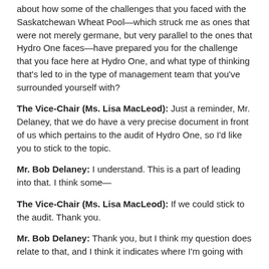about how some of the challenges that you faced with the Saskatchewan Wheat Pool—which struck me as ones that were not merely germane, but very parallel to the ones that Hydro One faces—have prepared you for the challenge that you face here at Hydro One, and what type of thinking that's led to in the type of management team that you've surrounded yourself with?
The Vice-Chair (Ms. Lisa MacLeod): Just a reminder, Mr. Delaney, that we do have a very precise document in front of us which pertains to the audit of Hydro One, so I'd like you to stick to the topic.
Mr. Bob Delaney: I understand. This is a part of leading into that. I think some—
The Vice-Chair (Ms. Lisa MacLeod): If we could stick to the audit. Thank you.
Mr. Bob Delaney: Thank you, but I think my question does relate to that, and I think it indicates where I'm going with